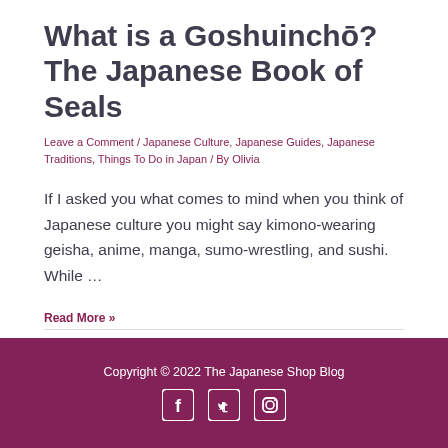What is a Goshuinchō? The Japanese Book of Seals
Leave a Comment / Japanese Culture, Japanese Guides, Japanese Traditions, Things To Do in Japan / By Olivia
If I asked you what comes to mind when you think of Japanese culture you might say kimono-wearing geisha, anime, manga, sumo-wrestling, and sushi. While …
Read More »
Copyright © 2022 The Japanese Shop Blog